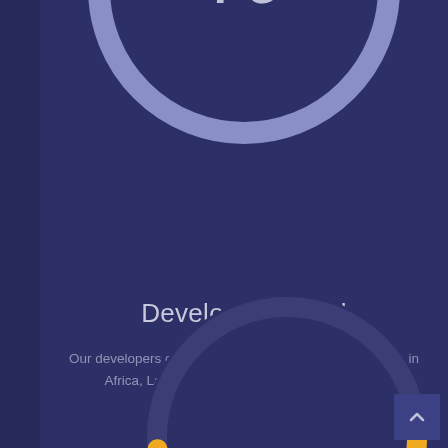[Figure (donut-chart): Donut/ring chart showing 79 developers hired, partially visible at top of page. Light purple/periwinkle ring on dark navy background with number 79 in center.]
Developers Hired
Our developers come from 12 different countries, mostly in Africa, Latin America, the Caribbean, and Asia.
[Figure (donut-chart): Partially visible orange/yellow donut ring chart at the bottom of the page, cut off.]